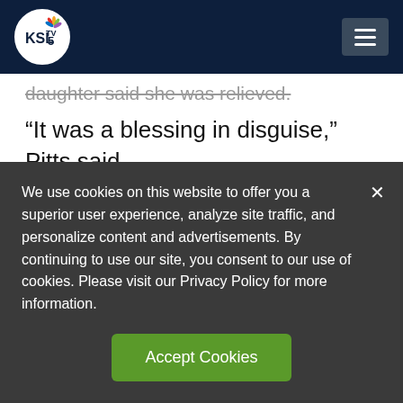KSL TV 5
daughter said she was relieved.
“It was a blessing in disguise,” Pitts said.
In her mind, she thought, “This is great. I don’t have to be the mean guy.”
Utah Department of Transportation
We use cookies on this website to offer you a superior user experience, analyze site traffic, and personalize content and advertisements. By continuing to use our site, you consent to our use of cookies. Please visit our Privacy Policy for more information.
Accept Cookies